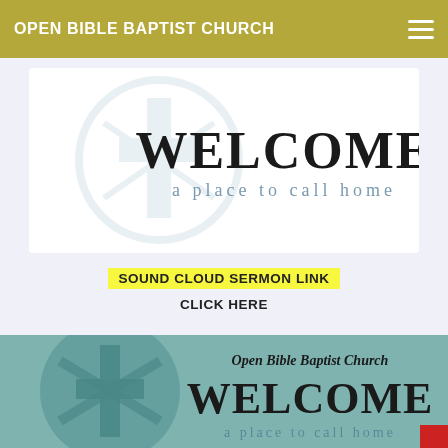OPEN BIBLE BAPTIST CHURCH
[Figure (illustration): Welcome banner with church logo - cross inside a circular shield shape with text WELCOME a place to call home on white background]
SOUND CLOUD SERMON LINK
CLICK HERE
[Figure (illustration): Second welcome banner with teal/green church logo - cross inside circular shield, text Open Bible Baptist Church, WELCOME a place to call home]